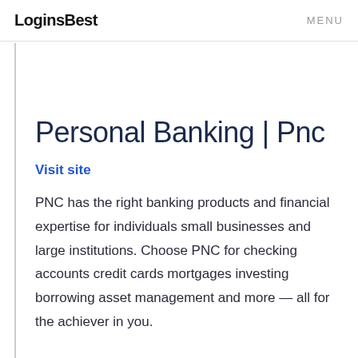LoginsBest  MENU
Personal Banking | Pnc
Visit site
PNC has the right banking products and financial expertise for individuals small businesses and large institutions. Choose PNC for checking accounts credit cards mortgages investing borrowing asset management and more — all for the achiever in you.